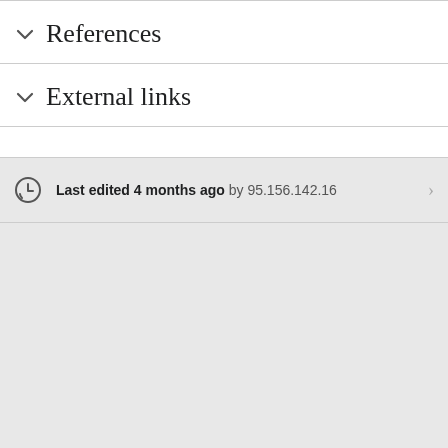References
External links
Last edited 4 months ago by 95.156.142.16